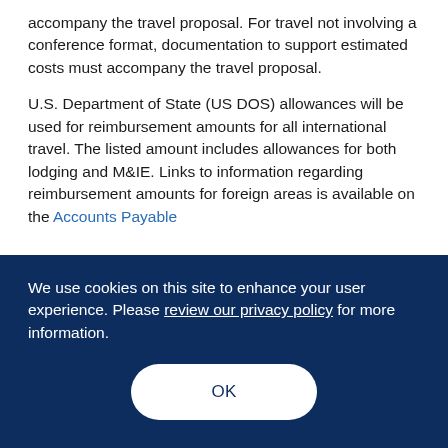accompany the travel proposal. For travel not involving a conference format, documentation to support estimated costs must accompany the travel proposal.
U.S. Department of State (US DOS) allowances will be used for reimbursement amounts for all international travel. The listed amount includes allowances for both lodging and M&IE. Links to information regarding reimbursement amounts for foreign areas is available on the Accounts Payable
We use cookies on this site to enhance your user experience. Please review our privacy policy for more information.
OK